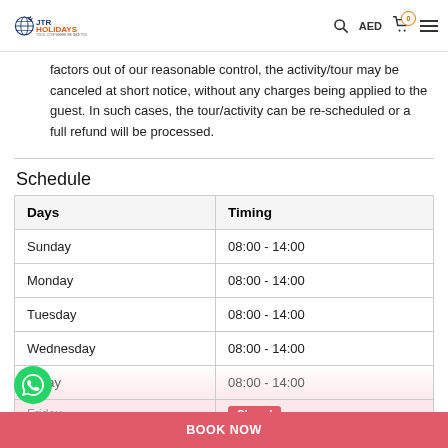JTR HOLIDAYS — YOU'LL LOVE WHERE WE TAKE YOU | AED | Cart 0
factors out of our reasonable control, the activity/tour may be canceled at short notice, without any charges being applied to the guest. In such cases, the tour/activity can be re-scheduled or a full refund will be processed.
Schedule
| Days | Timing |
| --- | --- |
| Sunday | 08:00 - 14:00 |
| Monday | 08:00 - 14:00 |
| Tuesday | 08:00 - 14:00 |
| Wednesday | 08:00 - 14:00 |
| Thursday | 08:00 - 14:00 |
| Friday | Closed |